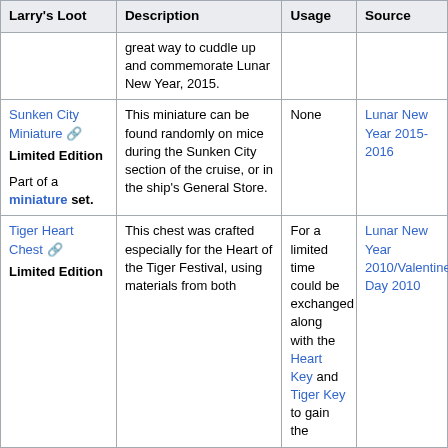| Larry's Loot | Description | Usage | Source |
| --- | --- | --- | --- |
|  | great way to cuddle up and commemorate Lunar New Year, 2015. |  |  |
| Sunken City Miniature [ext]
Limited Edition

Part of a miniature set. | This miniature can be found randomly on mice during the Sunken City section of the cruise, or in the ship's General Store. | None | Lunar New Year 2015-2016 |
| Tiger Heart Chest [ext]
Limited Edition | This chest was crafted especially for the Heart of the Tiger Festival, using materials from both | For a limited time could be exchanged along with the Heart Key and Tiger Key to gain the | Lunar New Year 2010/Valentine's Day 2010 |